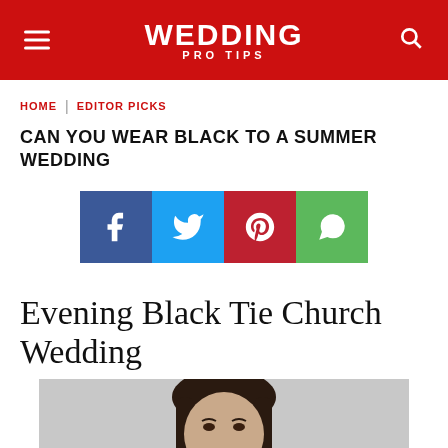WEDDING PRO TIPS
HOME | EDITOR PICKS
CAN YOU WEAR BLACK TO A SUMMER WEDDING
[Figure (infographic): Social media share buttons: Facebook (blue), Twitter (light blue), Pinterest (red), WhatsApp (green)]
Evening Black Tie Church Wedding
[Figure (photo): Photo of a dark-haired woman, cropped at top of image]